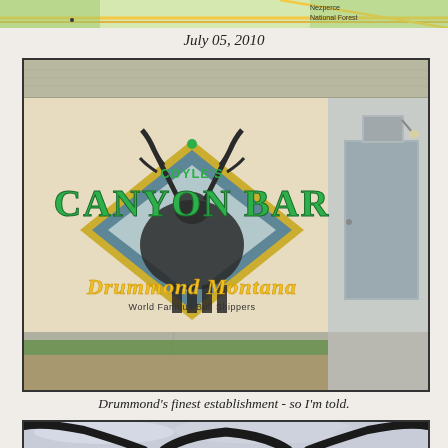[Figure (map): Partial map snippet showing Nezperce National Forest area]
July 05, 2010
[Figure (photo): Exterior wall of Coyle's Canyon Bar in Drummond, Montana. Large painted mural on tan/beige stucco wall featuring a deer silhouette inside a diamond shape with antlers, text reading COYLE'S CANYON BAR, Drummond Montana, World Famous Bull Shippers. A gray metal door is visible on the right side. Metal roof visible at top. Gravel and grass in foreground.]
Drummond's finest establishment - so I'm told.
[Figure (photo): Bottom portion of a photo showing what appears to be longhorn cattle horns against a cloudy sky, cropped at bottom of page.]